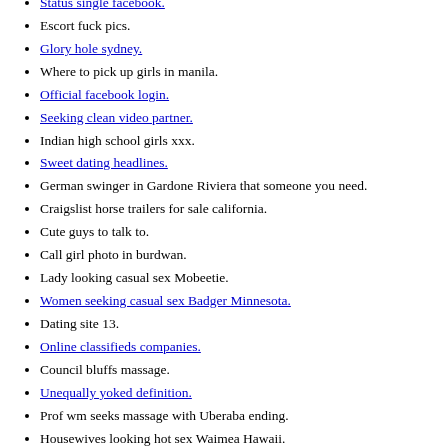Status single facebook.
Escort fuck pics.
Glory hole sydney.
Where to pick up girls in manila.
Official facebook login.
Seeking clean video partner.
Indian high school girls xxx.
Sweet dating headlines.
German swinger in Gardone Riviera that someone you need.
Craigslist horse trailers for sale california.
Cute guys to talk to.
Call girl photo in burdwan.
Lady looking casual sex Mobeetie.
Women seeking casual sex Badger Minnesota.
Dating site 13.
Online classifieds companies.
Council bluffs massage.
Unequally yoked definition.
Prof wm seeks massage with Uberaba ending.
Housewives looking hot sex Waimea Hawaii.
Early stages of dating rules.
Grindr hookup story.
Sanatorium ms interracial sex.
Christian dating in colorado springs.
Catholic match com sign in.